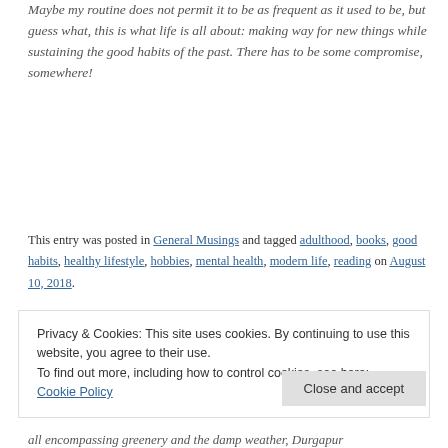Maybe my routine does not permit it to be as frequent as it used to be, but guess what, this is what life is all about: making way for new things while sustaining the good habits of the past. There has to be some compromise, somewhere!
This entry was posted in General Musings and tagged adulthood, books, good habits, healthy lifestyle, hobbies, mental health, modern life, reading on August 10, 2018.
Privacy & Cookies: This site uses cookies. By continuing to use this website, you agree to their use. To find out more, including how to control cookies, see here: Cookie Policy
Close and accept
all encompassing greenery and the damp weather, Durgapur